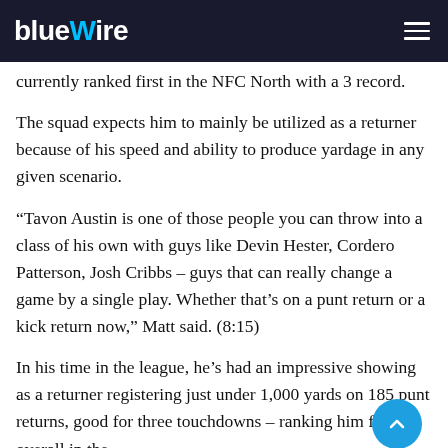bluewire
currently ranked first in the NFC North with a 3 record.
The squad expects him to mainly be utilized as a returner because of his speed and ability to produce yardage in any given scenario.
“Tavon Austin is one of those people you can throw into a class of his own with guys like Devin Hester, Cordero Patterson, Josh Cribbs – guys that can really change a game by a single play. Whether that’s on a punt return or a kick return now,” Matt said. (8:15)
In his time in the league, he’s had an impressive showing as a returner registering just under 1,000 yards on 185 punt returns, good for three touchdowns – ranking him fourth overall in the